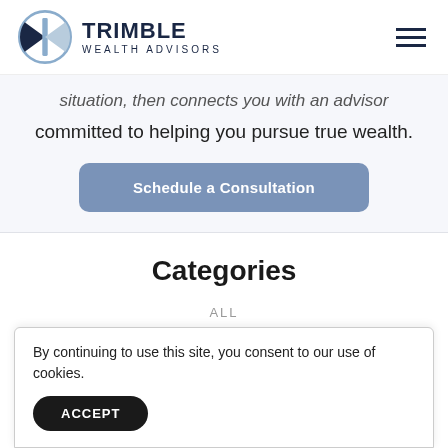TRIMBLE WEALTH ADVISORS
situation, then connects you with an advisor committed to helping you pursue true wealth.
Schedule a Consultation
Categories
ALL
By continuing to use this site, you consent to our use of cookies.
ACCEPT